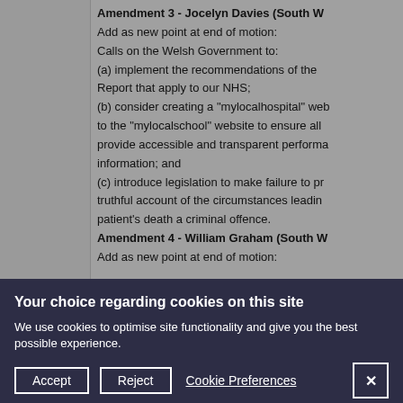Amendment 3 - Jocelyn Davies (South W
Add as new point at end of motion:
Calls on the Welsh Government to:
(a) implement the recommendations of the Report that apply to our NHS;
(b) consider creating a "mylocalhospital" website similar to the "mylocalschool" website to ensure all provide accessible and transparent performance information; and
(c) introduce legislation to make failure to provide a truthful account of the circumstances leading to a patient's death a criminal offence.
Amendment 4 - William Graham (South W
Add as new point at end of motion:
Your choice regarding cookies on this site
We use cookies to optimise site functionality and give you the best possible experience.